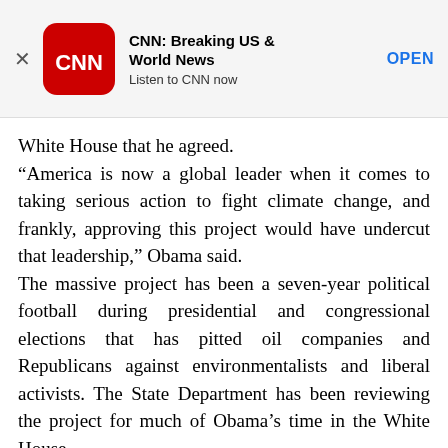[Figure (screenshot): CNN app advertisement banner showing CNN logo, title 'CNN: Breaking US & World News', subtitle 'Listen to CNN now', and OPEN button]
White House that he agreed.
“America is now a global leader when it comes to taking serious action to fight climate change, and frankly, approving this project would have undercut that leadership,” Obama said.
The massive project has been a seven-year political football during presidential and congressional elections that has pitted oil companies and Republicans against environmentalists and liberal activists. The State Department has been reviewing the project for much of Obama’s time in the White House.